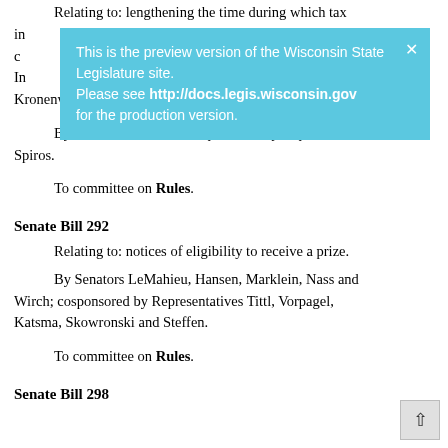Relating to: lengthening the time during which tax increments in a tax incremental district may be certified. In addition to other sponsors: Representatives Knodl, Schraa, Mursau, Kleefisch and Kronenwetter.
By Senator Petrowski; cosponsored by Representative Spiros.
To committee on Rules.
Senate Bill 292
Relating to: notices of eligibility to receive a prize.
By Senators LeMahieu, Hansen, Marklein, Nass and Wirch; cosponsored by Representatives Tittl, Vorpagel, Katsma, Skowronski and Steffen.
To committee on Rules.
Senate Bill 298
[Figure (screenshot): Preview version banner overlay: 'This is the preview version of the Wisconsin State Legislature site. Please see http://docs.legis.wisconsin.gov for the production version.' with a close X button.]